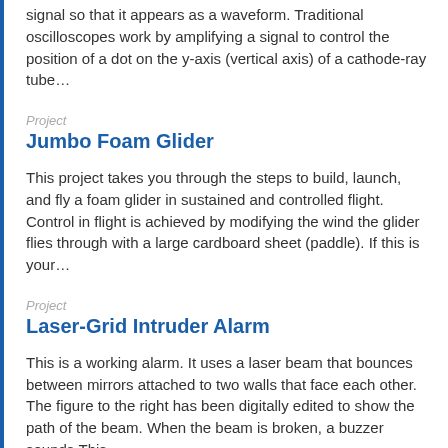signal so that it appears as a waveform. Traditional oscilloscopes work by amplifying a signal to control the position of a dot on the y-axis (vertical axis) of a cathode-ray tube…
Project
Jumbo Foam Glider
This project takes you through the steps to build, launch, and fly a foam glider in sustained and controlled flight. Control in flight is achieved by modifying the wind the glider flies through with a large cardboard sheet (paddle). If this is your…
Project
Laser-Grid Intruder Alarm
This is a working alarm. It uses a laser beam that bounces between mirrors attached to two walls that face each other. The figure to the right has been digitally edited to show the path of the beam. When the beam is broken, a buzzer sounds.This…
Project